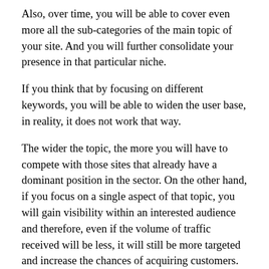Also, over time, you will be able to cover even more all the sub-categories of the main topic of your site. And you will further consolidate your presence in that particular niche.
If you think that by focusing on different keywords, you will be able to widen the user base, in reality, it does not work that way.
The wider the topic, the more you will have to compete with those sites that already have a dominant position in the sector. On the other hand, if you focus on a single aspect of that topic, you will gain visibility within an interested audience and therefore, even if the volume of traffic received will be less, it will still be more targeted and increase the chances of acquiring customers.
Social Network
Even on social networks, being a promoter of products